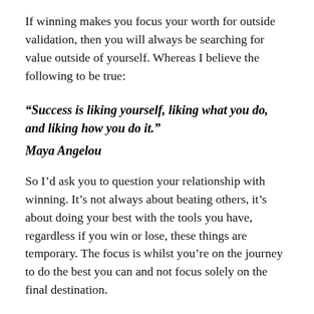If winning makes you focus your worth for outside validation, then you will always be searching for value outside of yourself. Whereas I believe the following to be true:
“Success is liking yourself, liking what you do, and liking how you do it.”
Maya Angelou
So I’d ask you to question your relationship with winning. It’s not always about beating others, it’s about doing your best with the tools you have, regardless if you win or lose, these things are temporary. The focus is whilst you’re on the journey to do the best you can and not focus solely on the final destination.